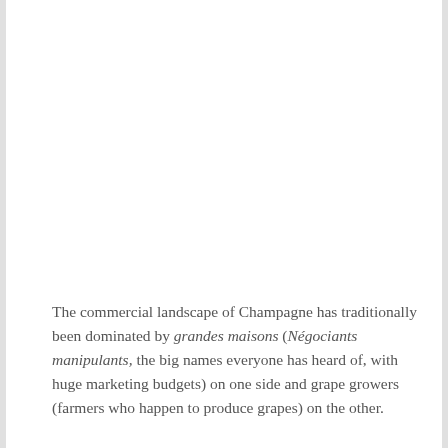The commercial landscape of Champagne has traditionally been dominated by grandes maisons (Négociants manipulants, the big names everyone has heard of, with huge marketing budgets) on one side and grape growers (farmers who happen to produce grapes) on the other.